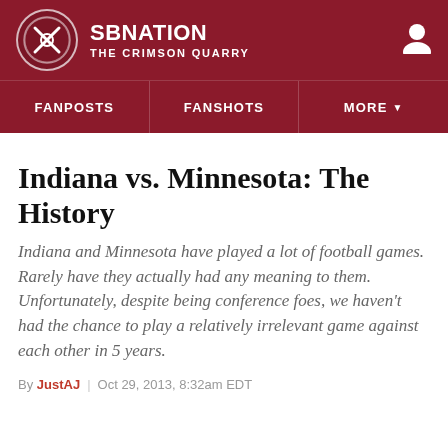SB NATION — THE CRIMSON QUARRY
Indiana vs. Minnesota: The History
Indiana and Minnesota have played a lot of football games. Rarely have they actually had any meaning to them. Unfortunately, despite being conference foes, we haven't had the chance to play a relatively irrelevant game against each other in 5 years.
By JustAJ | Oct 29, 2013, 8:32am EDT